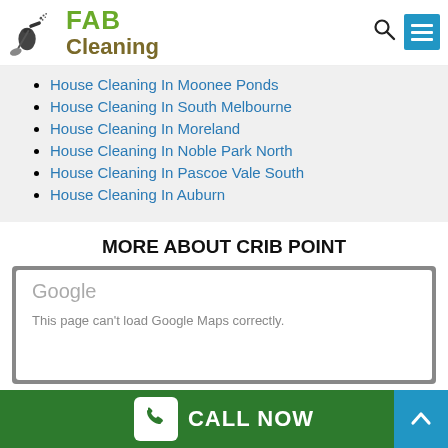[Figure (logo): FAB Cleaning logo with cleaning equipment icon, green FAB text and brown Cleaning text]
House Cleaning In Moonee Ponds
House Cleaning In South Melbourne
House Cleaning In Moreland
House Cleaning In Noble Park North
House Cleaning In Pascoe Vale South
House Cleaning In Auburn
MORE ABOUT CRIB POINT
[Figure (screenshot): Google Maps embed showing error message - This page can't load Google Maps correctly]
CALL NOW